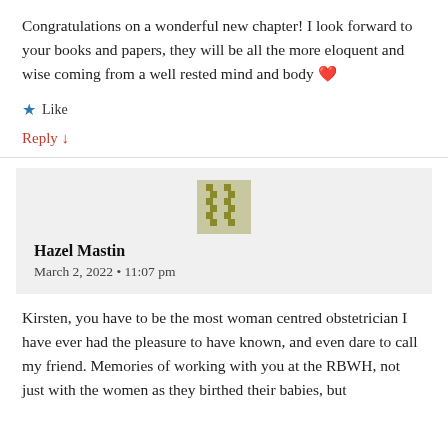Congratulations on a wonderful new chapter! I look forward to your books and papers, they will be all the more eloquent and wise coming from a well rested mind and body ❤️
★ Like
Reply ↓
Hazel Mastin
March 2, 2022 • 11:07 pm
Kirsten, you have to be the most woman centred obstetrician I have ever had the pleasure to have known, and even dare to call my friend. Memories of working with you at the RBWH, not just with the women as they birthed their babies, but